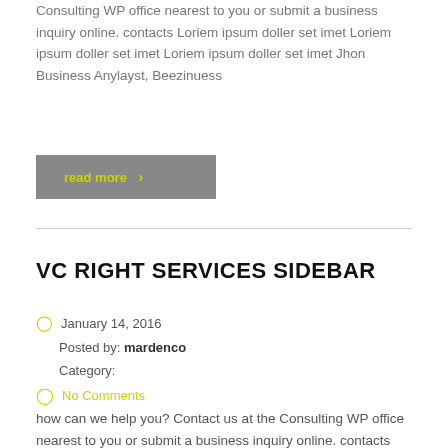Consulting WP office nearest to you or submit a business inquiry online. contacts Loriem ipsum doller set imet Loriem ipsum doller set imet Loriem ipsum doller set imet Jhon Business Anylayst, Beezinuess
read more ›
VC RIGHT SERVICES SIDEBAR
January 14, 2016
Posted by: mardenco
Category:
No Comments
how can we help you? Contact us at the Consulting WP office nearest to you or submit a business inquiry online. contacts Company presentation Loriem ipsum doller set imet Loriem